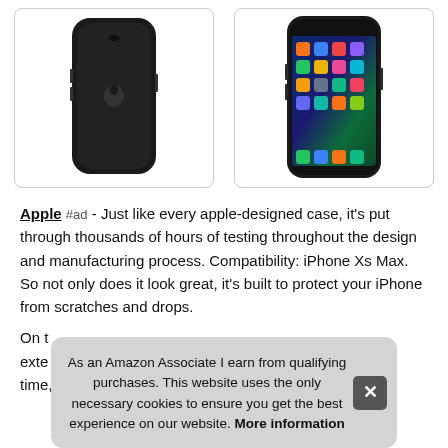[Figure (photo): Two product images side by side: left shows an Apple iPhone Xs Max black silicone case (back view), right shows an iPhone Xs Max with colorful home screen (front view).]
Apple #ad - Just like every apple-designed case, it's put through thousands of hours of testing throughout the design and manufacturing process. Compatibility: iPhone Xs Max. So not only does it look great, it's built to protect your iPhone from scratches and drops.
On t... exte... time,...
As an Amazon Associate I earn from qualifying purchases. This website uses the only necessary cookies to ensure you get the best experience on our website. More information